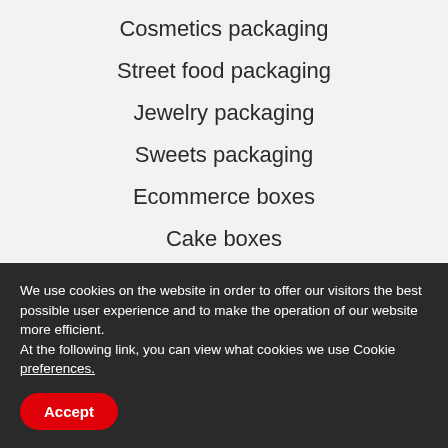Cosmetics packaging
Street food packaging
Jewelry packaging
Sweets packaging
Ecommerce boxes
Cake boxes
Offset printed corrugated board box
Beverages packaging
Electronics packaging
We use cookies on the website in order to offer our visitors the best possible user experience and to make the operation of our website more efficient.
At the following link, you can view what cookies we use Cookie preferences.